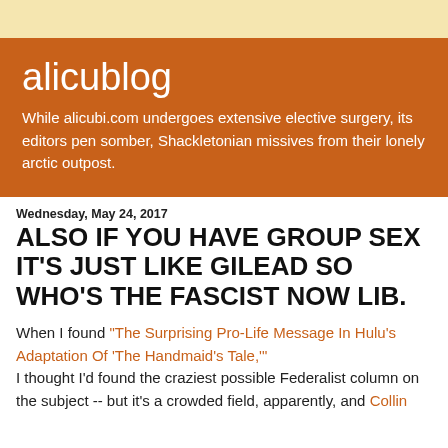alicublog
While alicubi.com undergoes extensive elective surgery, its editors pen somber, Shackletonian missives from their lonely arctic outpost.
Wednesday, May 24, 2017
ALSO IF YOU HAVE GROUP SEX IT'S JUST LIKE GILEAD SO WHO'S THE FASCIST NOW LIB.
When I found "The Surprising Pro-Life Message In Hulu's Adaptation Of 'The Handmaid's Tale,'" I thought I'd found the craziest possible Federalist column on the subject -- but it's a crowded field, apparently, and Collin